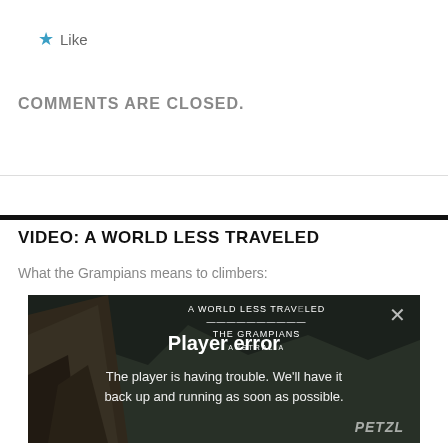★ Like
COMMENTS ARE CLOSED.
VIDEO: A WORLD LESS TRAVELED
What the Grampians means to climbers:
[Figure (screenshot): A video player showing an error state. Background shows a rocky cliff and mountain landscape. Overlay text reads: 'A WORLD LESS TRAVELED / THE GRAMPIANS / AUSTRALIA' with an X close button. Center displays 'Player error' and 'The player is having trouble. We'll have it back up and running as soon as possible.' PETZL logo in bottom right.]